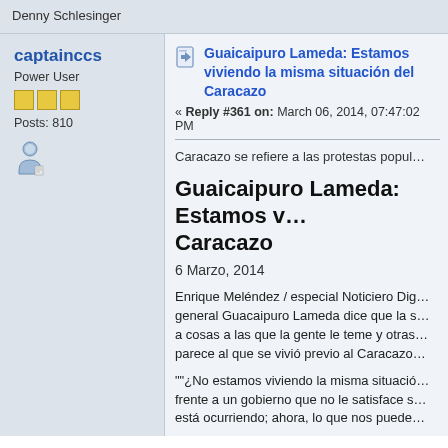Denny Schlesinger
captainccs
Power User
Posts: 810
Guaicaipuro Lameda: Estamos viviendo la misma situación del Caracazo
« Reply #361 on: March 06, 2014, 07:47:02 PM
Caracazo se refiere a las protestas popul…
Guaicaipuro Lameda: Estamos v… Caracazo
6 Marzo, 2014
Enrique Meléndez / especial Noticiero Dig… general Guacaipuro Lameda dice que la s… a cosas a las que la gente le teme y otras… parece al que se vivió previo al Caracazo…
""¿No estamos viviendo la misma situació… frente a un gobierno que no le satisface s… está ocurriendo; ahora, lo que nos puede…